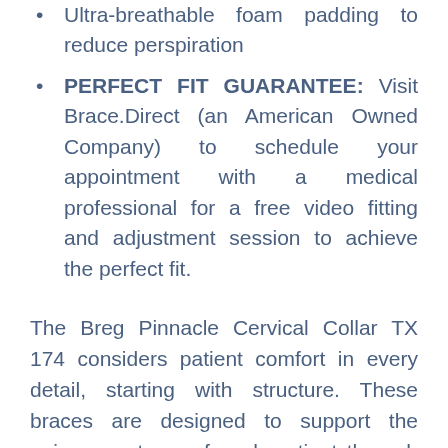Ultra-breathable foam padding to reduce perspiration
PERFECT FIT GUARANTEE: Visit Brace.Direct (an American Owned Company) to schedule your appointment with a medical professional for a free video fitting and adjustment session to achieve the perfect fit.
The Breg Pinnacle Cervical Collar TX 174 considers patient comfort in every detail, starting with structure. These braces are designed to support the unique anatomy of each patient through features like over-molded elastomeric support panels, strategic structural design and an ergonomic chin height adjustment knob. The design is enhanced by premium, super-soft anti-microbial fabrics laminated